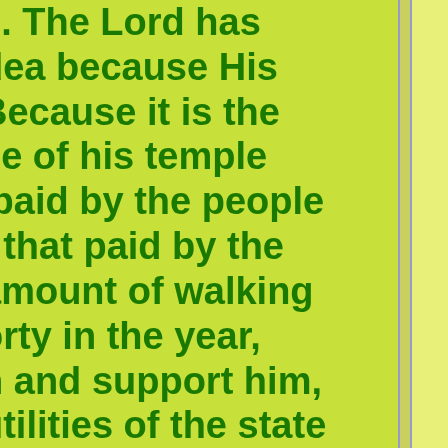e. The Lord has dea because His Because it is the ce of his temple paid by the people t that paid by the amount of walking orty in the year, n and support him, utilities of the state e of the Book and derly, children and